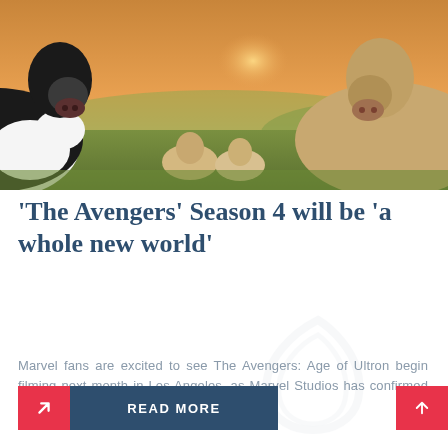[Figure (photo): Cows and calves on a farm field at sunset. A black and white cow on the left, a tan/cream cow on the right, and small calves in the background with golden sunset light.]
‘The Avengers’ Season 4 will be ‘a whole new world’
Marvel fans are excited to see The Avengers: Age of Ultron begin filming next month in Los Angeles, as Marvel Studios has confirmed the show will be an entirely new
READ MORE